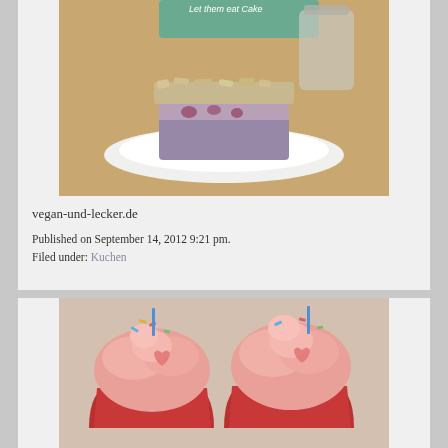[Figure (photo): Food photo showing a slice of cake with crumble topping on a white plate, with a teal 'Let them eat Cake' sign in background]
vegan-und-lecker.de
Published on September 14, 2012 9:21 pm.
Filed under: Kuchen
[Figure (photo): Photo of two cupcakes with pink frosting in red cupcake liners, decorated with colorful sprinkles and candy pieces]